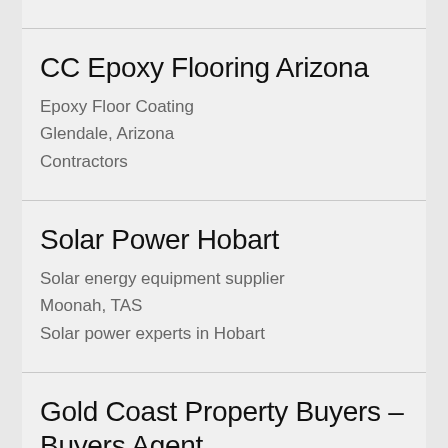CC Epoxy Flooring Arizona
Epoxy Floor Coating
Glendale, Arizona
Contractors
Solar Power Hobart
Solar energy equipment supplier
Moonah, TAS
Solar power experts in Hobart
Gold Coast Property Buyers – Buyers Agent